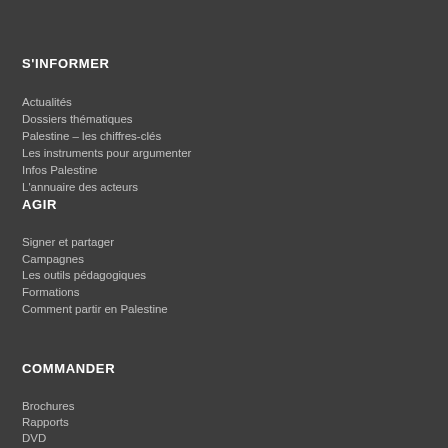S'INFORMER
Actualités
Dossiers thématiques
Palestine – les chiffres-clés
Les instruments pour argumenter
Infos Palestine
L'annuaire des acteurs
AGIR
Signer et partager
Campagnes
Les outils pédagogiques
Formations
Comment partir en Palestine
COMMANDER
Brochures
Rapports
DVD
Carte
Accessoires